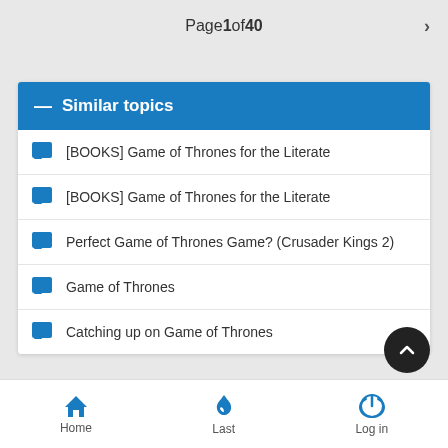Page 1 of 40
Similar topics
[BOOKS] Game of Thrones for the Literate
[BOOKS] Game of Thrones for the Literate
Perfect Game of Thrones Game? (Crusader Kings 2)
Game of Thrones
Catching up on Game of Thrones
Home  Last  Log in